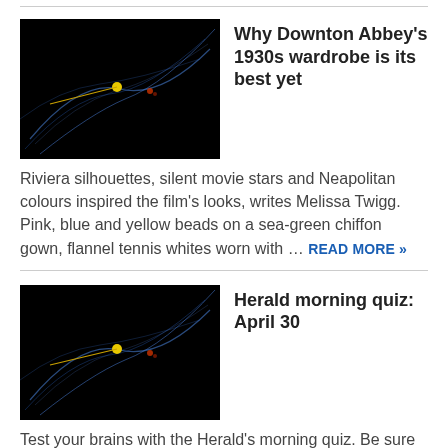[Figure (photo): Dark abstract image with blue curved light trails and a yellow dot, used as article thumbnail for Downton Abbey wardrobe article]
Why Downton Abbey's 1930s wardrobe is its best yet
Riviera silhouettes, silent movie stars and Neapolitan colours inspired the film's looks, writes Melissa Twigg. Pink, blue and yellow beads on a sea-green chiffon gown, flannel tennis whites worn with … READ MORE »
[Figure (photo): Dark abstract image with blue curved light trails and a yellow dot, used as article thumbnail for Herald morning quiz article]
Herald morning quiz: April 30
Test your brains with the Herald's morning quiz. Be sure to check back on nzherald.co.nz for the